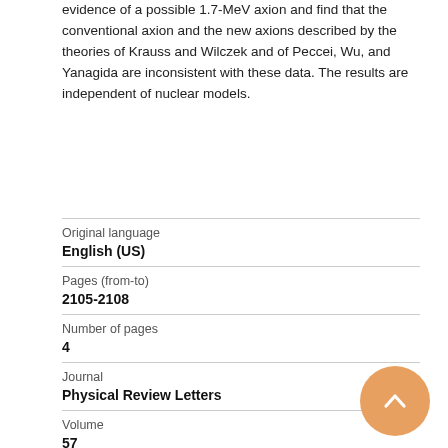evidence of a possible 1.7-MeV axion and find that the conventional axion and the new axions described by the theories of Krauss and Wilczek and of Peccei, Wu, and Yanagida are inconsistent with these data. The results are independent of nuclear models.
| Original language | English (US) |
| Pages (from-to) | 2105-2108 |
| Number of pages | 4 |
| Journal | Physical Review Letters |
| Volume | 57 |
| Issue number |  |
[Figure (other): Orange circular back-to-top button with an upward chevron arrow icon, positioned in the lower right of the page.]